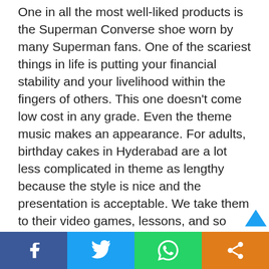One in all the most well-liked products is the Superman Converse shoe worn by many Superman fans. One of the scariest things in life is putting your financial stability and your livelihood within the fingers of others. This one doesn't come low cost in any grade. Even the theme music makes an appearance. For adults, birthday cakes in Hyderabad are a lot less complicated in theme as lengthy because the style is nice and the presentation is acceptable. We take them to their video games, lessons, and so forth. however how a lot do we actually interact with them? A really offbeat take on the traditional polo, these tees will actually add a whole new dimension to your assortment. The hot button is that you may actively take back management from him with out him
Social share bar with Facebook, Twitter, WhatsApp, and Share buttons